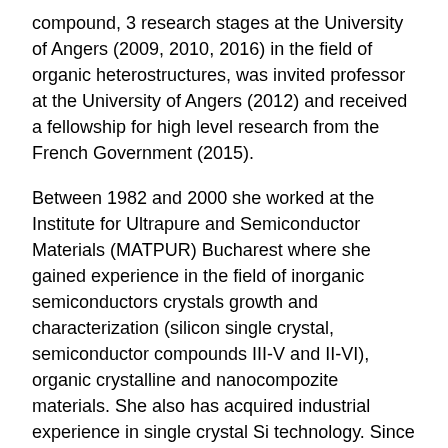compound, 3 research stages at the University of Angers (2009, 2010, 2016) in the field of organic heterostructures, was invited professor at the University of Angers (2012) and received a fellowship for high level research from the French Government (2015).
Between 1982 and 2000 she worked at the Institute for Ultrapure and Semiconductor Materials (MATPUR) Bucharest where she gained experience in the field of inorganic semiconductors crystals growth and characterization (silicon single crystal, semiconductor compounds III-V and II-VI), organic crystalline and nanocompozite materials. She also has acquired industrial experience in single crystal Si technology. Since 2001 she is working at the National Institute for Materials Physics (NIMP) Magurele, her research interest being focused on organic multifunctional materials and organic flexible heterostructures for photovoltaics and optoelectronics, oligomers and polymers for photonics, bulk heterojunctions